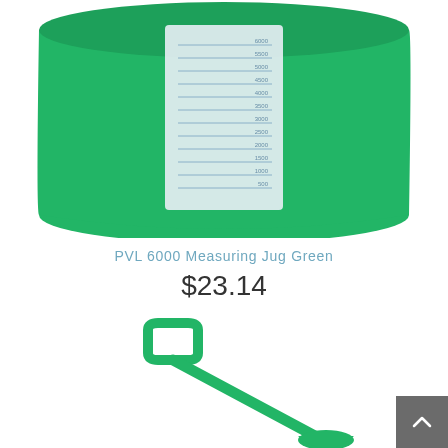[Figure (photo): Green plastic PVL 6000 measuring jug with measurement markings on a white label strip, cropped showing the bottom portion of the jug against a white background]
PVL 6000 Measuring Jug Green
$23.14
[Figure (photo): Green plastic garden spade/shovel toy with a D-shaped handle, photographed against a white background, partially cropped at the bottom]
[Figure (other): Gray 'back to top' button with upward chevron arrow, positioned in the bottom right corner]